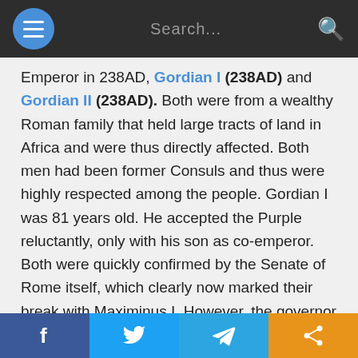Search...
Emperor in 238AD, Gordian I (238AD) and Gordian II (238AD). Both were from a wealthy Roman family that held large tracts of land in Africa and were thus directly affected. Both men had been former Consuls and thus were highly respected among the people. Gordian I was 81 years old. He accepted the Purple reluctantly, only with his son as co-emperor. Both were quickly confirmed by the Senate of Rome itself, which clearly now marked their break with Maximinus I. However, the governor of Numidia was loyal to Maximinus I and marched on Carthage where the Gordians were and defeated the younger Gordian in Battle causing the father to then committed suicide. Their reign lasted only three weeks during the month of April 238AD.

Maximinius I was now marching upon Rome itself given
f  [twitter]  [telegram]  [share]